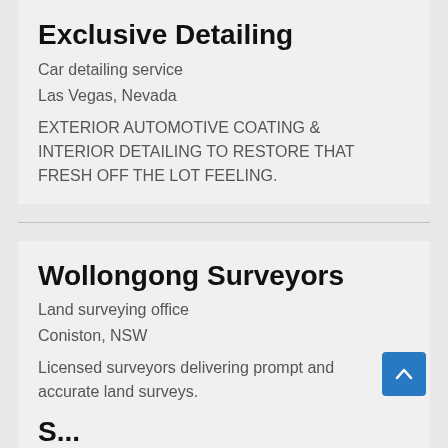Exclusive Detailing
Car detailing service
Las Vegas, Nevada
EXTERIOR AUTOMOTIVE COATING & INTERIOR DETAILING TO RESTORE THAT FRESH OFF THE LOT FEELING.
Wollongong Surveyors
Land surveying office
Coniston, NSW
Licensed surveyors delivering prompt and accurate land surveys.
S...